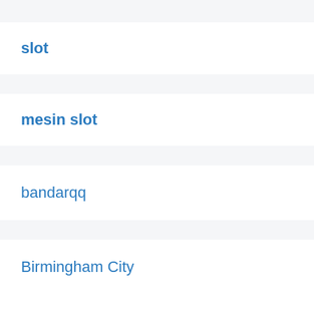slot
mesin slot
bandarqq
Birmingham City